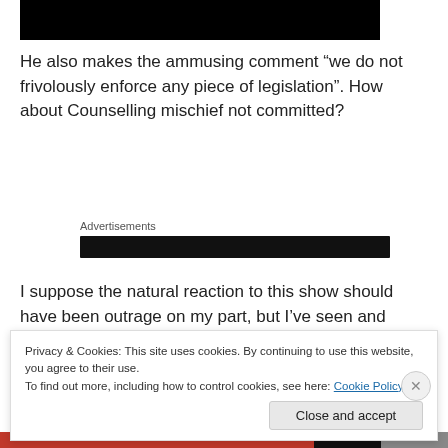[Figure (other): Black redacted image bar at top of page]
He also makes the ammusing comment “we do not frivolously enforce any piece of legislation”. How about Counselling mischief not committed?
Advertisements
[Figure (other): Black advertisement bar]
I suppose the natural reaction to this show should have been outrage on my part, but I’ve seen and heard it all so many times now that I just felt a great sense of
Privacy & Cookies: This site uses cookies. By continuing to use this website, you agree to their use.
To find out more, including how to control cookies, see here: Cookie Policy
Close and accept